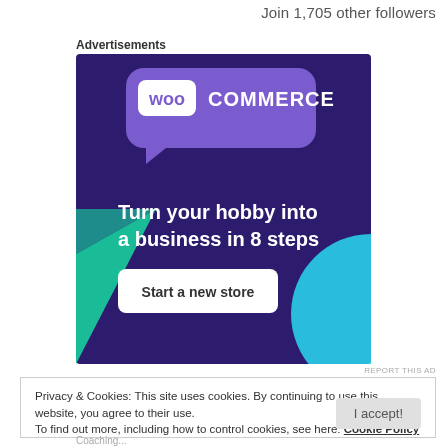Join 1,705 other followers
Advertisements
[Figure (illustration): WooCommerce advertisement banner with purple background, teal/cyan accent shapes, WooCommerce logo, text 'Turn your hobby into a business in 8 steps', and a 'Start a new store' button.]
REPORT THIS AD
Privacy & Cookies: This site uses cookies. By continuing to use this website, you agree to their use.
To find out more, including how to control cookies, see here: Cookie Policy
I accept!
Coaching...